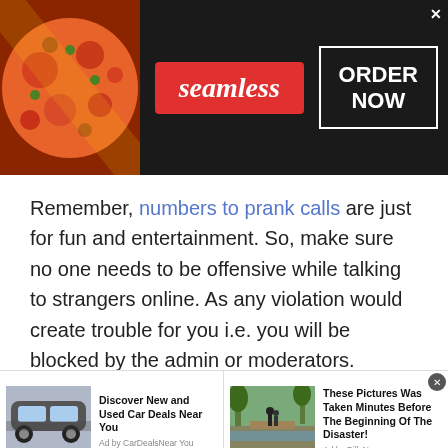[Figure (screenshot): Seamless food delivery advertisement banner with pizza image on left, red 'seamless' logo in center, and 'ORDER NOW' button in white-bordered box on right, on dark background.]
Remember, numbers to prank calls are just for fun and entertainment. So, make sure no one needs to be offensive while talking to strangers online. As any violation would create trouble for you i.e. you will be blocked by the admin or moderators. However, if you ever feel uncomfortable while revealing your identity then anonymous prank calls are for sure the best option. You can freely talk to people without feeling worried or being judged by anyone.
[Figure (screenshot): Bottom ad strip with two ad units: 'Discover New and Used Car Deals Near You' by CarDealsNearYou with car image, and 'These Pictures Was Taken Minutes Before The Beginning Of The Disaster!' by BillyNews with flood/road image.]